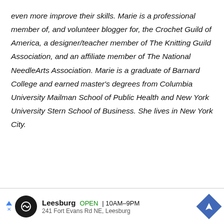even more improve their skills. Marie is a professional member of, and volunteer blogger for, the Crochet Guild of America, a designer/teacher member of The Knitting Guild Association, and an affiliate member of The National NeedleArts Association. Marie is a graduate of Barnard College and earned master's degrees from Columbia University Mailman School of Public Health and New York University Stern School of Business. She lives in New York City.
[Figure (other): Advertisement bar for Leesburg store showing logo, open status, hours (10AM-9PM), address (241 Fort Evans Rd NE, Leesburg), and navigation arrow icon]